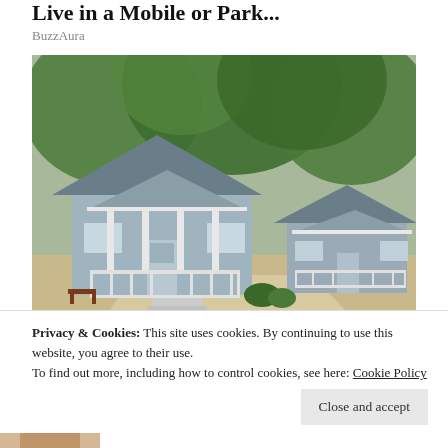Live in a Mobile or Park...
BuzzAura
[Figure (photo): Two light blue/grey cottage-style mobile homes with white front porches and railings, surrounded by large trees, with a concrete driveway in front.]
Privacy & Cookies: This site uses cookies. By continuing to use this website, you agree to their use.
To find out more, including how to control cookies, see here: Cookie Policy

Close and accept
Install Solar if You Live in